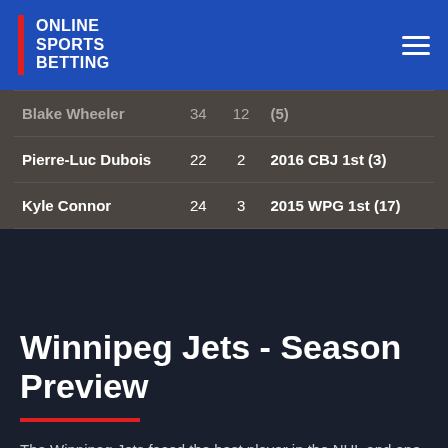ONLINE SPORTS BETTING
| Player | Age | Yrs | Draft Info |
| --- | --- | --- | --- |
| Blake Wheeler | 34 | 12 | (5) |
| Pierre-Luc Dubois | 22 | 2 | 2016 CBJ 1st (3) |
| Kyle Connor | 24 | 3 | 2015 WPG 1st (17) |
Winnipeg Jets - Season Preview
The Winnipeg Jets faced the best player in the NHL and one of the hottest teams in the Edmonton Oilers in the